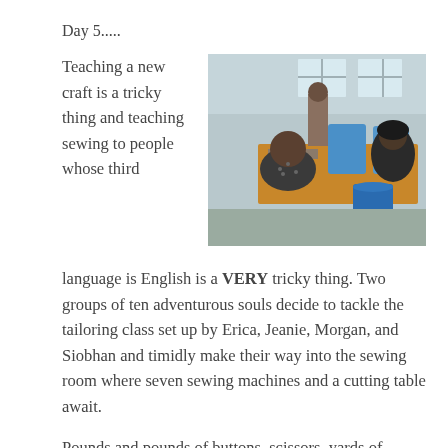Day 5.....
[Figure (photo): People sitting at a desk with blue sewing machines in a classroom/workshop setting. A person in a patterned dress is in the foreground, and others are visible behind, near windows.]
Teaching a new craft is a tricky thing and teaching sewing to people whose third language is English is a VERY tricky thing. Two groups of ten adventurous souls decide to tackle the tailoring class set up by Erica, Jeanie, Morgan, and Siobhan and timidly make their way into the sewing room where seven sewing machines and a cutting table await.
Pounds and pounds of buttons, scissors, yards of various colorful cloth, threads of all types and colors, seam rippers, and much more are standing at attention, ready to be used. Nine young ladies and a young man are the first group to take a class and they